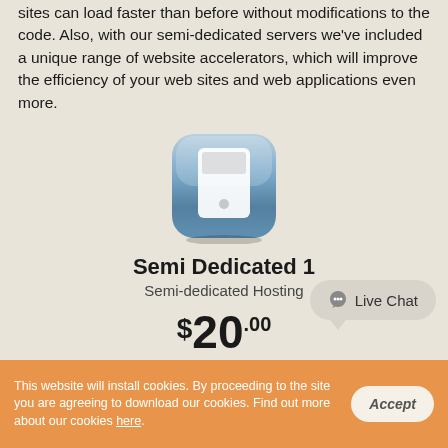sites can load faster than before without modifications to the code. Also, with our semi-dedicated servers we've included a unique range of website accelerators, which will improve the efficiency of your web sites and web applications even more.
[Figure (illustration): A rounded square icon with a blue-gray gradient background depicting a white stylized server/computer device icon]
Semi Dedicated 1
Semi-dedicated Hosting
$20.00
(per month)
Live Chat
This website will install cookies. By proceeding to the site you are agreeing to download our cookies. Find out more about our cookies here.